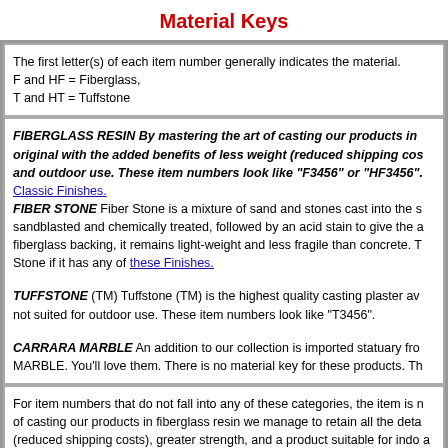Material Keys
The first letter(s) of each item number generally indicates the material. F and HF = Fiberglass, T and HT = Tuffstone
FIBERGLASS RESIN By mastering the art of casting our products in original with the added benefits of less weight (reduced shipping costs) and outdoor use. These item numbers look like "F3456" or "HF3456". Classic Finishes.
FIBER STONE Fiber Stone is a mixture of sand and stones cast into the s sandblasted and chemically treated, followed by an acid stain to give the a fiberglass backing, it remains light-weight and less fragile than concrete. T Stone if it has any of these Finishes.
TUFFSTONE (TM) Tuffstone (TM) is the highest quality casting plaster av not suited for outdoor use. These item numbers look like "T3456".
CARRARA MARBLE An addition to our collection is imported statuary fro MARBLE. You'll love them. There is no material key for these products. Th
For item numbers that do not fall into any of these categories, the item is n of casting our products in fiberglass resin we manage to retain all the deta (reduced shipping costs), greater strength, and a product suitable for indo a specific product, feel free to and we will help you determine what the ma